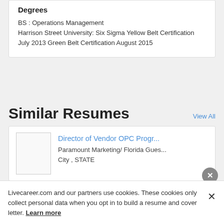Degrees
BS : Operations Management
Harrison Street University: Six Sigma Yellow Belt Certification July 2013 Green Belt Certification August 2015
Similar Resumes
View All
Director of Vendor OPC Progr...
Paramount Marketing/ Florida Gues...
City , STATE
Livecareer.com and our partners use cookies. These cookies only collect personal data when you opt in to build a resume and cover letter. Learn more